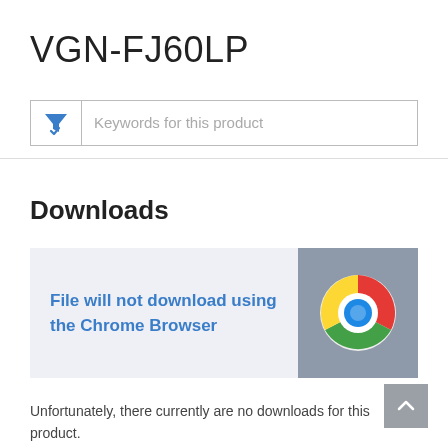VGN-FJ60LP
[Figure (screenshot): Search/filter input box with a blue funnel/filter icon on the left and placeholder text 'Keywords for this product']
Downloads
[Figure (infographic): Banner with light blue-grey background on left side saying 'File will not download using the Chrome Browser' in blue link text, and a grey square on the right containing the Google Chrome logo]
Unfortunately, there currently are no downloads for this product.